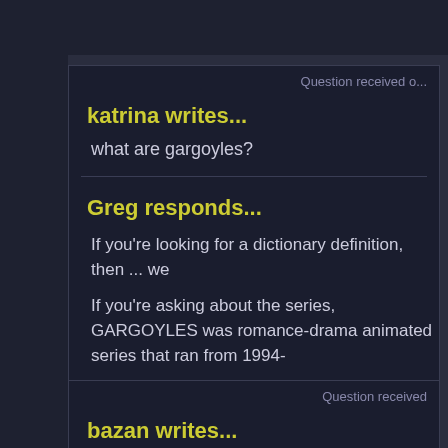Question received o...
katrina writes...
what are gargoyles?
Greg responds...
If you're looking for a dictionary definition, then ... we
If you're asking about the series, GARGOYLES was romance-drama animated series that ran from 1994-
If you're asking about the species, check the ASK GR question is too large and vague for me to possibly co odds, two years later, of you still needing or wanting
Question received
bazan writes...